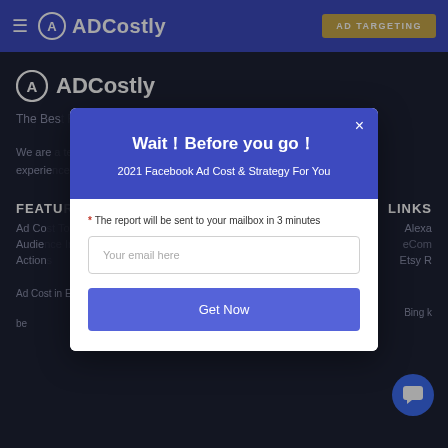≡ ADCostly | AD TARGETING
[Figure (screenshot): ADCostly website background with logo, tagline, navigation links and footer]
[Figure (other): Modal popup dialog with purple header, email input and Get Now button]
Wait！Before you go！
2021 Facebook Ad Cost & Strategy For You
* The report will be sent to your mailbox in 3 minutes
Your email here
Get Now
© AdCostly 2018~2022. All rights reserved.